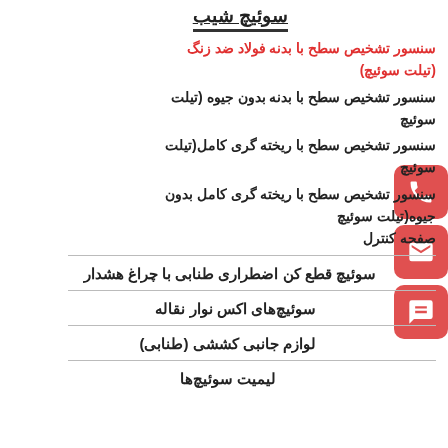سوئیچ شیب
سنسور تشخیص سطح با بدنه فولاد ضد زنگ (تیلت سوئیچ)
سنسور تشخیص سطح با بدنه بدون جیوه (تیلت سوئیچ
سنسور تشخیص سطح با ریخته گری کامل(تیلت سوئیچ
سنسور تشخیص سطح با ریخته گری کامل بدون جیوه(تیلت سوئیچ
صفحه کنترل
سوئیچ قطع کن اضطراری طنابی با چراغ هشدار
سوئیچ‌های اکس نوار نقاله
لوازم جانبی کششی (طنابی)
لیمیت سوئیچ‌ها